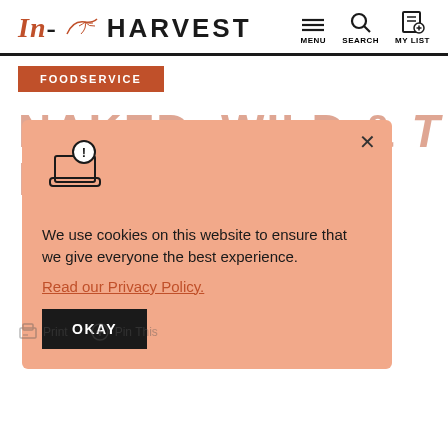IN-HARVEST | MENU | SEARCH | MY LIST
FOODSERVICE
NAKED, WILD & FREE™
We use cookies on this website to ensure that we give everyone the best experience.
Read our Privacy Policy.
OKAY